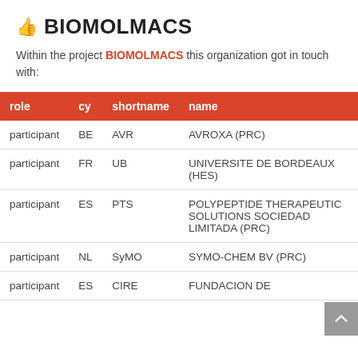BIOMOLMACS
Within the project BIOMOLMACS this organization got in touch with:
| role | cy | shortname | name |
| --- | --- | --- | --- |
| participant | BE | AVR | AVROXA (PRC) |
| participant | FR | UB | UNIVERSITE DE BORDEAUX (HES) |
| participant | ES | PTS | POLYPEPTIDE THERAPEUTIC SOLUTIONS SOCIEDAD LIMITADA (PRC) |
| participant | NL | SyMO | SYMO-CHEM BV (PRC) |
| participant | ES | CIRE | FUNDACION DE |